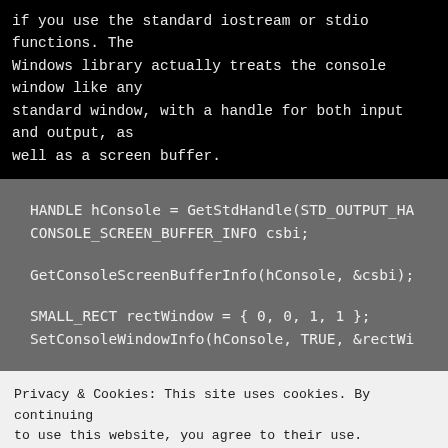if you use the standard iostream or stdio functions. The Windows library actually treats the console window like any standard window, with a handle for both input and output, as well as a screen buffer.
HANDLE hConsole = GetStdHandle(STD_OUTPUT_HA
CONSOLE_SCREEN_BUFFER_INFO csbi;

GetConsoleScreenBufferInfo(hConsole, &csbi);

SMALL_RECT rectWindow = { 0, 0, 1, 1 };
SetConsoleWindowInfo(hConsole, TRUE, &rectWi
Privacy & Cookies: This site uses cookies. By continuing to use this website, you agree to their use.
To find out more, including how to control cookies, see here: Cookie Policy

Close and accept